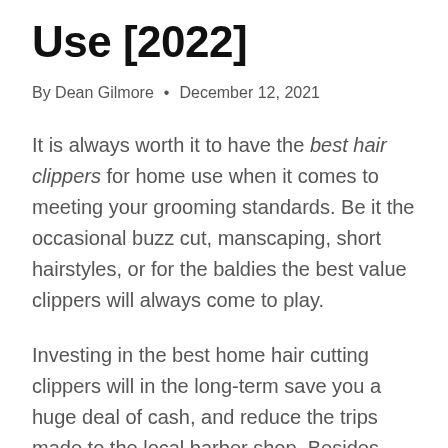Use [2022]
By Dean Gilmore • December 12, 2021
It is always worth it to have the best hair clippers for home use when it comes to meeting your grooming standards. Be it the occasional buzz cut, manscaping, short hairstyles, or for the baldies the best value clippers will always come to play.
Investing in the best home hair cutting clippers will in the long-term save you a huge deal of cash, and reduce the trips made to the local barber shop. Besides, owning a hair clipper comes with creative control, which you will love